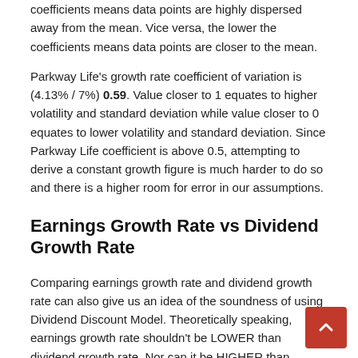coefficients means data points are highly dispersed away from the mean. Vice versa, the lower the coefficients means data points are closer to the mean.
Parkway Life's growth rate coefficient of variation is (4.13% / 7%) 0.59. Value closer to 1 equates to higher volatility and standard deviation while value closer to 0 equates to lower volatility and standard deviation. Since Parkway Life coefficient is above 0.5, attempting to derive a constant growth figure is much harder to do so and there is a higher room for error in our assumptions.
Earnings Growth Rate vs Dividend Growth Rate
Comparing earnings growth rate and dividend growth rate can also give us an idea of the soundness of using Dividend Discount Model. Theoretically speaking, earnings growth rate shouldn't be LOWER than dividend growth rate. Nor can it be HIGHER than dividend growth rate.